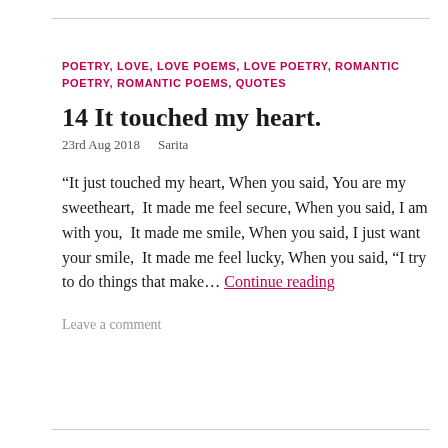POETRY, LOVE, LOVE POEMS, LOVE POETRY, ROMANTIC POETRY, ROMANTIC POEMS, QUOTES
14 It touched my heart.
23rd Aug 2018   Sarita
“It just touched my heart, When you said, You are my sweetheart,  It made me feel secure, When you said, I am with you,  It made me smile, When you said, I just want your smile,  It made me feel lucky, When you said, “I try to do things that make… Continue reading
Leave a comment